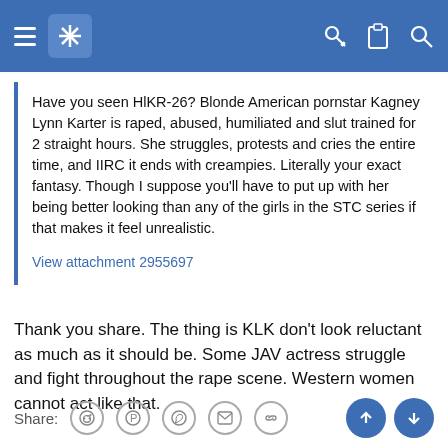Navigation header bar with menu, logo, key, clipboard, and search icons
Have you seen HlKR-26? Blonde American pornstar Kagney Lynn Karter is raped, abused, humiliated and slut trained for 2 straight hours. She struggles, protests and cries the entire time, and IIRC it ends with creampies. Literally your exact fantasy. Though I suppose you'll have to put up with her being better looking than any of the girls in the STC series if that makes it feel unrealistic.

View attachment 2955697
Thank you share. The thing is KLK don't look reluctant as much as it should be. Some JAV actress struggle and fight throughout the rape scene. Western women cannot act like that.
Prev | 5 of 6 | Next | You must log in or register to reply here. | Share: